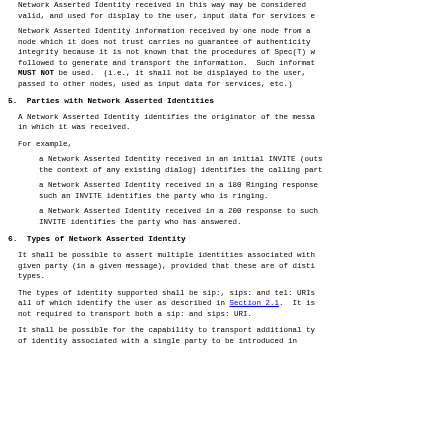Network Asserted Identity received in this way may be considered valid, and used for display to the user, input data for services e
Network Asserted Identity information received by one node from a node which it does not trust carries no guarantee of authenticity integrity because it is not known that the procedures of Spec(T) w followed to generate and transport the information.  Such informat MUST NOT be used.  (i.e., it shall not be displayed to the user, passed to other nodes, used as input data for services, etc.)
5.  Parties with Network Asserted Identities
A Network Asserted Identity identifies the originator of the messa in which it was received.
For example,
a Network Asserted Identity received in an initial INVITE (outs the context of any existing dialog) identifies the calling part
a Network Asserted Identity received in a 180 Ringing response such an INVITE identifies the party who is ringing.
a Network Asserted Identity received in a 200 response to such INVITE identifies the party who has answered.
6.  Types of Network Asserted Identity
It shall be possible to assert multiple identities associated with given party (in a given message), provided that these are of disti types.
The types of identity supported shall be sip:, sips: and tel: URIs all of which identify the user as described in Section 2.1.  It is not required to transport both a sip: and sips: URI.
It shall be possible for the capability to transport additional ty of identity associated with a single party to be introduced in